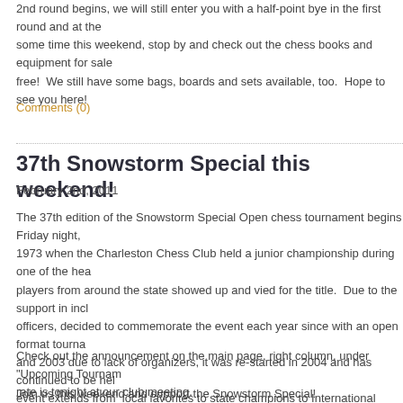2nd round begins, we will still enter you with a half-point bye in the first round and at the some time this weekend, stop by and check out the chess books and equipment for sale free!  We still have some bags, boards and sets available, too.  Hope to see you here!
Comments (0)
37th Snowstorm Special this weekend!
February 2nd, 2011
The 37th edition of the Snowstorm Special Open chess tournament begins Friday night, 1973 when the Charleston Chess Club held a junior championship during one of the hea players from around the state showed up and vied for the title.  Due to the support in incl officers, decided to commemorate the event each year since with an open format tourna and 2003 due to lack of organizers, it was re-started in 2004 and has continued to be hel event extends from  local favorites to state champions to International masters.  It is a to competing for a prize either at the top or in your rating class.  It's a great tournament to a since you can be paired against the top group of players, especially in the first round.  Bu from competing against your own level players for the class prizes.  Many times, a 3-2 sc higher competes sometimes for a place prize.
Check out the announcement on the main page, right column, under "Upcoming Tournam rate is tonight at our club meeting.
Join us this weekend and support the Snowstorm Special!